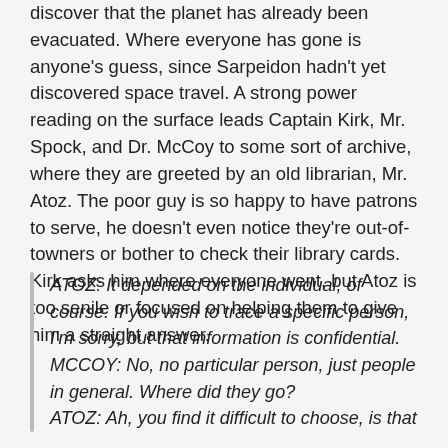discover that the planet has already been evacuated. Where everyone has gone is anyone's guess, since Sarpeidon hadn't yet discovered space travel. A strong power reading on the surface leads Captain Kirk, Mr. Spock, and Dr. McCoy to some sort of archive, where they are greeted by an old librarian, Mr. Atoz. The poor guy is so happy to have patrons to serve, he doesn't even notice they're out-of-towners or bother to check their library cards. Kirk asks him where everyone went, but Atoz is too senile or focused on helping them to give him a straight answer.
ATOZ: It depended on the individual, of course. If you wish to trace a specific person, I'm sorry, but that information is confidential.
MCCOY: No, no particular person, just people in general. Where did they go?
ATOZ: Ah, you find it difficult to choose, is that